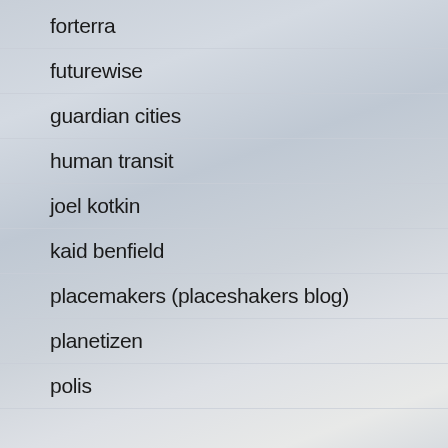forterra
futurewise
guardian cities
human transit
joel kotkin
kaid benfield
placemakers (placeshakers blog)
planetizen
polis